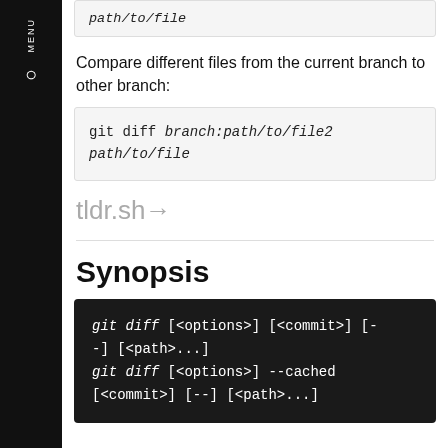path/to/file
Compare different files from the current branch to other branch:
git diff branch:path/to/file2 path/to/file
tldr.sh→
Synopsis
git diff [<options>] [<commit>] [--] [<path>...]
git diff [<options>] --cached [<commit>] [--] [<path>...]